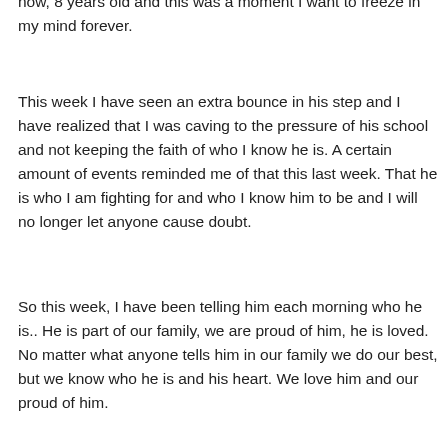now, 8 years old and this was a moment I want to freeze in my mind forever.
This week I have seen an extra bounce in his step and I have realized that I was caving to the pressure of his school and not keeping the faith of who I know he is. A certain amount of events reminded me of that this last week. That he is who I am fighting for and who I know him to be and I will no longer let anyone cause doubt.
So this week, I have been telling him each morning who he is.. He is part of our family, we are proud of him, he is loved. No matter what anyone tells him in our family we do our best, but we know who he is and his heart. We love him and our proud of him.